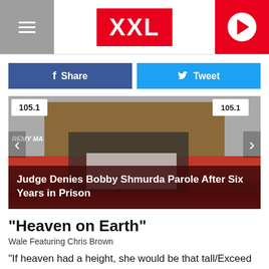XXL
[Figure (illustration): Facebook Share button and Twitter Tweet button social sharing row]
[Figure (photo): Slideshow image showing a person at what appears to be a Power 105 event with a red carpet, with overlay caption: Judge Denies Bobby Shmurda Parole After Six Years in Prison]
Judge Denies Bobby Shmurda Parole After Six Years in Prison
"Heaven on Earth"
Wale Featuring Chris Brown
"If heaven had a height, she would be that tall/Exceed that far, you see my scars/I see your flaws, I see no problem/I know